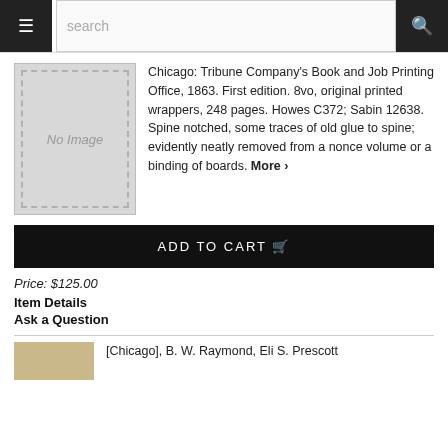search
[Figure (illustration): No Image placeholder with dashed border]
Chicago: Tribune Company's Book and Job Printing Office, 1863. First edition. 8vo, original printed wrappers, 248 pages. Howes C372; Sabin 12638. Spine notched, some traces of old glue to spine; evidently neatly removed from a nonce volume or a binding of boards. More ›
ADD TO CART
Price: $125.00
Item Details
Ask a Question
[Figure (photo): Partial book cover image at bottom]
[Chicago], B. W. Raymond, Eli S. Prescott